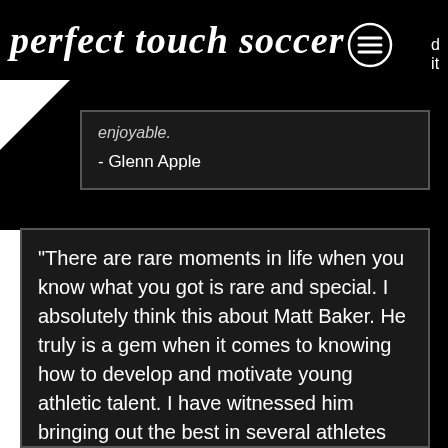perfect touch soccer
enjoyable.
- Glenn Apple
"There are rare moments in life when you know what you got is rare and special. I absolutely think this about Matt Baker. He truly is a gem when it comes to knowing how to develop and motivate young athletic talent. I have witnessed him bringing out the best in several athletes who are willing to put in the time and effort to excel at their sport.  He has made the world of difference for my children - one of whom has now gone on to play for a top girls' academy in the country and